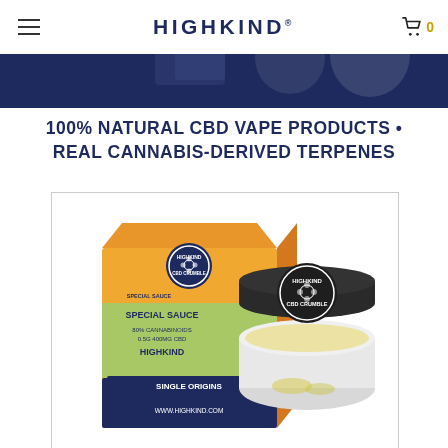HIGHKIND®
[Figure (photo): Partial hero photo showing Highkind CBD products on dark navy background at the very top of page]
100% NATURAL CBD VAPE PRODUCTS • REAL CANNABIS-DERIVED TERPENES
[Figure (photo): Highkind CBD Crumble product photo showing Special Sauce packaging box (orange/yellow design, 80% Cannabinoids, 0.5g 400mg CBD, Highkind, Single Origins, www.highkind.com) alongside a small clear jar with black lid labeled Highkind CBD Crumble, containing yellow crumble extract]